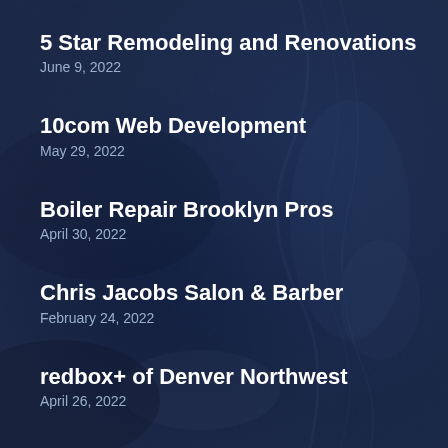5 Star Remodeling and Renovations
June 9, 2022
10com Web Development
May 29, 2022
Boiler Repair Brooklyn Pros
April 30, 2022
Chris Jacobs Salon & Barber
February 24, 2022
redbox+ of Denver Northwest
April 26, 2022